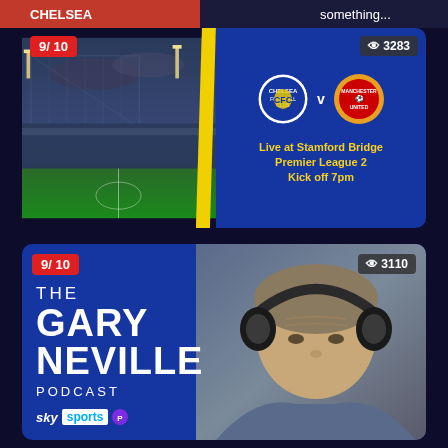[Figure (screenshot): Top strip showing partial content from above]
[Figure (screenshot): Card showing Chelsea vs Manchester United match at Stamford Bridge, Premier League 2, Kick off 7pm. Rating badge 9/10, view count 3283.]
[Figure (screenshot): Card showing The Gary Neville Podcast on Sky Sports. Rating badge 9/10, view count 3110. Photo of Gary Neville wearing headphones.]